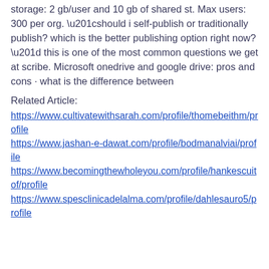storage: 2 gb/user and 10 gb of shared st. Max users: 300 per org. “should i self-publish or traditionally publish? which is the better publishing option right now?” this is one of the most common questions we get at scribe. Microsoft onedrive and google drive: pros and cons · what is the difference between
Related Article:
https://www.cultivatewithsarah.com/profile/thomebeithm/profile
https://www.jashan-e-dawat.com/profile/bodmanalviai/profile
https://www.becomingthewholeyou.com/profile/hankescuitof/profile
https://www.spesclinicadelalma.com/profile/dahlesauro5/profile